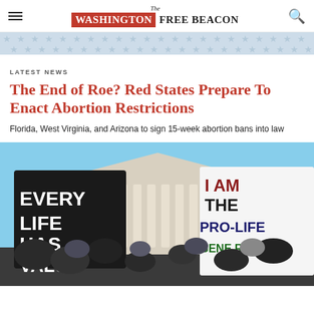The Washington Free Beacon
[Figure (illustration): Stars and stripes decorative banner in light blue]
LATEST NEWS
The End of Roe? Red States Prepare To Enact Abortion Restrictions
Florida, West Virginia, and Arizona to sign 15-week abortion bans into law
[Figure (photo): Protest outside the US Supreme Court with signs reading 'Every Life Has Value' and 'I Am The Pro-Life Generation']